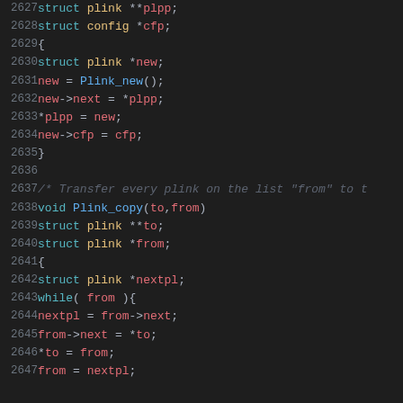Source code listing, lines 2627-2647, C programming language showing plink struct operations and Plink_copy function